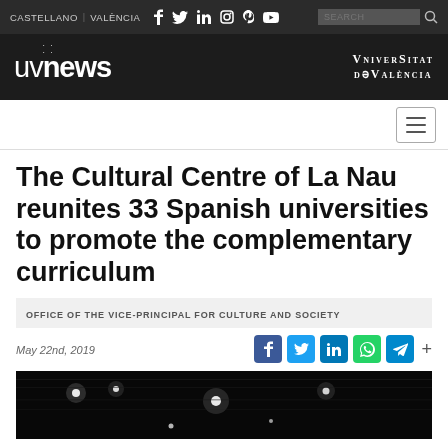CASTELLANO  VALÈNCIA
[Figure (logo): UVnews logo with radiating dots above 'news']
[Figure (logo): Vniversitat de València logo text in serif small-caps]
The Cultural Centre of La Nau reunites 33 Spanish universities to promote the complementary curriculum
OFFICE OF THE VICE-PRINCIPAL FOR CULTURE AND SOCIETY
May 22nd, 2019
[Figure (photo): Dark photograph showing stage lights / concert hall lighting, mostly black with bright white spot lights]